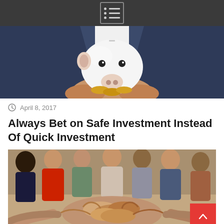Menu icon / navigation bar
[Figure (photo): Person in dark suit holding a white piggy bank with coins at the bottom, photographed from chest level down.]
April 8, 2017
Always Bet on Safe Investment Instead Of Quick Investment
[Figure (photo): A group of young people stacking their hands together in a circle, teamwork gesture, in what appears to be a classroom or meeting room.]